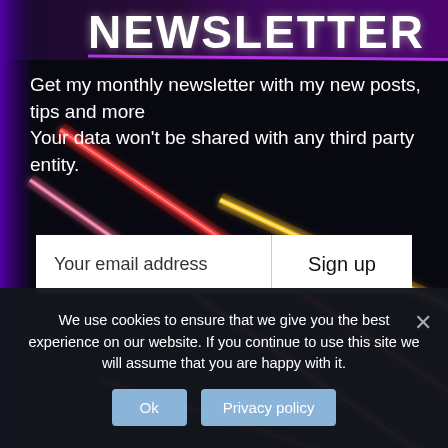[Figure (screenshot): Dark sci-fi background with light saber beams (red, pink, yellow/orange) crossing diagonally over a dark near-black background with purple accent lighting]
NEWSLETTER
Get my monthly newsletter with my new posts, tips and more
Your data won't be shared with any third party entity.
Your email address   Sign up
We use cookies to ensure that we give you the best experience on our website. If you continue to use this site we will assume that you are happy with it.
Ok   Privacy policy